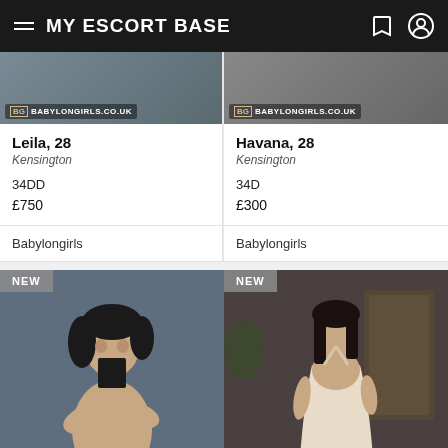MY ESCORT BASE
[Figure (screenshot): Escort listing card for Leila, 28 with Babylongirls.co.uk banner image]
Leila, 28
Kensington
34DD
£750
Babylongirls
[Figure (screenshot): Escort listing card for Havana, 28 with Babylongirls.co.uk banner image]
Havana, 28
Kensington
34D
£300
Babylongirls
[Figure (photo): New listing photo - dark-haired woman with arms crossed, dark blue/grey background]
[Figure (photo): New listing photo - dark-haired woman in cream halter dress, ornate gold room background]
FILTER